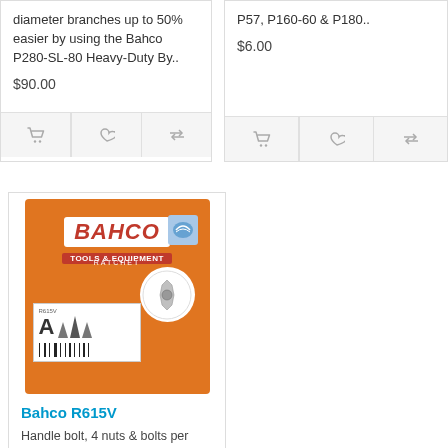diameter branches up to 50% easier by using the Bahco P280-SL-80 Heavy-Duty By..
$90.00
P57, P160-60 & P180..
$6.00
[Figure (photo): Bahco R615V product packaging on orange card with Bahco logo, showing handle bolt hardware and a white label with product illustrations and barcode]
Bahco R615V
Handle bolt, 4 nuts & bolts per card, fits all P14 and